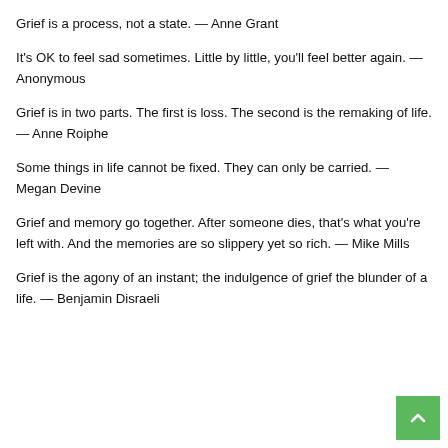Grief is a process, not a state. — Anne Grant
It's OK to feel sad sometimes. Little by little, you'll feel better again. — Anonymous
Grief is in two parts. The first is loss. The second is the remaking of life. — Anne Roiphe
Some things in life cannot be fixed. They can only be carried. — Megan Devine
Grief and memory go together. After someone dies, that's what you're left with. And the memories are so slippery yet so rich. — Mike Mills
Grief is the agony of an instant; the indulgence of grief the blunder of a life. — Benjamin Disraeli